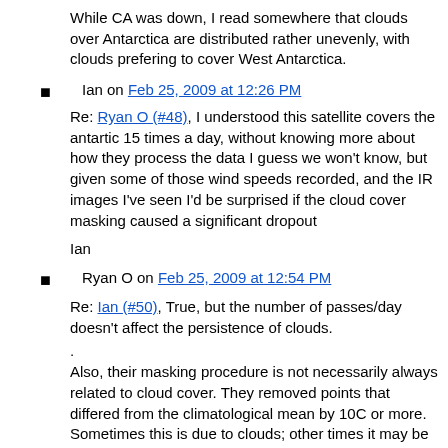While CA was down, I read somewhere that clouds over Antarctica are distributed rather unevenly, with clouds prefering to cover West Antarctica.
Ian on Feb 25, 2009 at 12:26 PM
Re: Ryan O (#48), I understood this satellite covers the antartic 15 times a day, without knowing more about how they process the data I guess we won't know, but given some of those wind speeds recorded, and the IR images I've seen I'd be surprised if the cloud cover masking caused a significant dropout
Ian
Ryan O on Feb 25, 2009 at 12:54 PM
Re: Ian (#50), True, but the number of passes/day doesn't affect the persistence of clouds.
.
Also, their masking procedure is not necessarily always related to cloud cover. They removed points that differed from the climatological mean by 10C or more. Sometimes this is due to clouds; other times it may be due to errors/missing